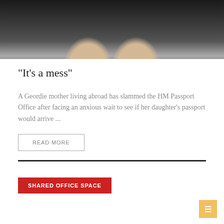[Figure (photo): Photo of two women with blonde hair posing together, dark background]
“It’s a mess”
A Geordie mother living abroad has slammed the HM Passport Office after facing an anxious wait to see if her daughter’s passport would arrive ...
READ MORE
SHARED OFFICE SPACE